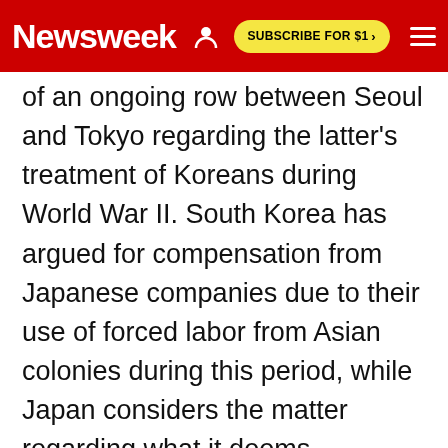Newsweek | SUBSCRIBE FOR $1 >
of an ongoing row between Seoul and Tokyo regarding the latter's treatment of Koreans during World War II. South Korea has argued for compensation from Japanese companies due to their use of forced labor from Asian colonies during this period, while Japan considers the matter regarding what it deems "requisitioned" labor settled by their 1965 Basic Relations Treaty that also dealt with the issue of so-called "comfort women."